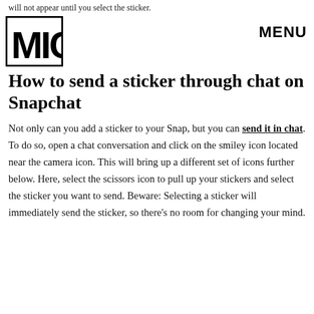will not appear until you select the sticker.
[Figure (logo): MIC logo — bold block letters in a rectangle]
MENU
How to send a sticker through chat on Snapchat
Not only can you add a sticker to your Snap, but you can send it in chat. To do so, open a chat conversation and click on the smiley icon located near the camera icon. This will bring up a different set of icons further below. Here, select the scissors icon to pull up your stickers and select the sticker you want to send. Beware: Selecting a sticker will immediately send the sticker, so there's no room for changing your mind.